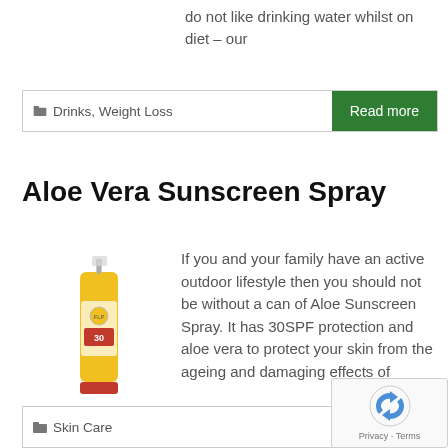do not like drinking water whilst on diet – our
Drinks, Weight Loss
Read more
Aloe Vera Sunscreen Spray
[Figure (photo): Yellow spray bottle of Aloe Vera Sunscreen SPF 30 product]
If you and your family have an active outdoor lifestyle then you should not be without a can of Aloe Sunscreen Spray. It has 30SPF protection and aloe vera to protect your skin from the ageing and damaging effects of
Skin Care
Read more